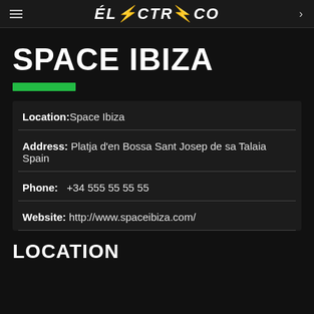ELÉCTRICO
SPACE IBIZA
Location: Space Ibiza
Address: Platja d'en Bossa Sant Josep de sa Talaia Spain
Phone: +34 555 55 55 55
Website: http://www.spaceibiza.com/
LOCATION